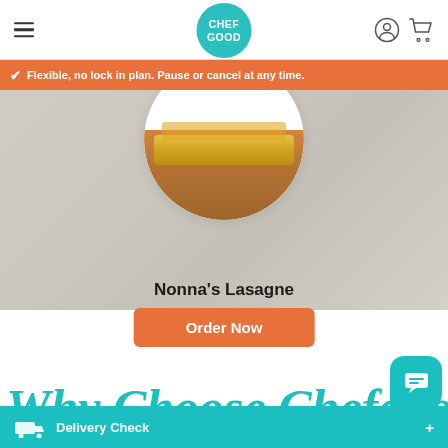Chef Good — navigation header with hamburger menu, logo, user and cart icons
✓ Flexible, no lock in plan. Pause or cancel at any time.
[Figure (photo): Food photo of Nonna's Lasagne on a white plate against a light grey marble background]
Nonna's Lasagne
Order Now
Why Choose Chefgood Me... Adelaide?
Delivery Check +